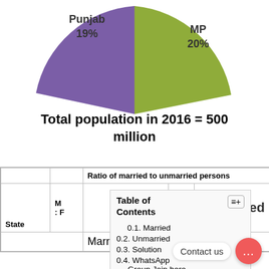[Figure (pie-chart): Partial pie chart showing Punjab 19% (purple) and MP 20% (green) slices visible at top of page]
Total population in 2016 = 500 million
| State | M : F | Ratio of married to unmarried persons | Married | Unmarried |
| --- | --- | --- | --- | --- |
Table of Contents
0.1. Married
0.2. Unmarried
0.3. Solution
0.4. WhatsApp Group Join here
Contact us